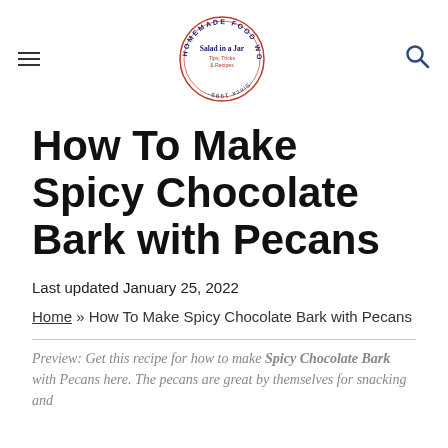Salad in a Jar — Homemade Food Worth Sharing — Tips, Tricks & Recipes
How To Make Spicy Chocolate Bark with Pecans
Last updated January 25, 2022
Home » How To Make Spicy Chocolate Bark with Pecans
Preview: Get this recipe for how to make Spicy Chocolate Bark with Pecans here. The pecans are great by themselves for snacking and